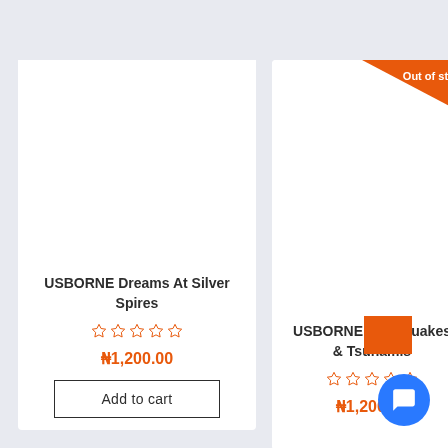[Figure (screenshot): E-commerce product listing showing two book product cards side by side. Left card: 'USBORNE Dreams At Silver Spires' with empty star rating, price ₦1,200.00, and Add to cart button. Right card: 'USBORNE Earthquakes & Tsunamis' with Out of stock badge, empty star rating, price ₦1,200.00. A blue chat bubble icon appears in bottom right.]